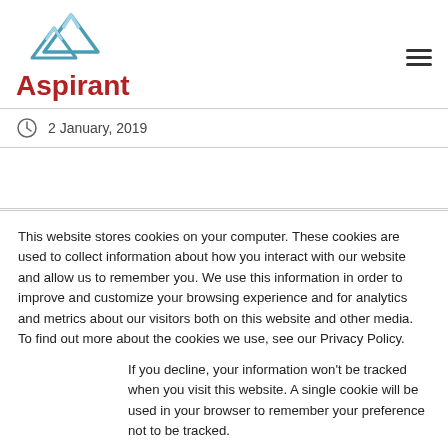[Figure (logo): Aspirant company logo with mountain peaks in blue/teal above the text 'Aspirant' in dark red bold font]
2 January, 2019
This website stores cookies on your computer. These cookies are used to collect information about how you interact with our website and allow us to remember you. We use this information in order to improve and customize your browsing experience and for analytics and metrics about our visitors both on this website and other media. To find out more about the cookies we use, see our Privacy Policy.
If you decline, your information won't be tracked when you visit this website. A single cookie will be used in your browser to remember your preference not to be tracked.
Accept
Decline